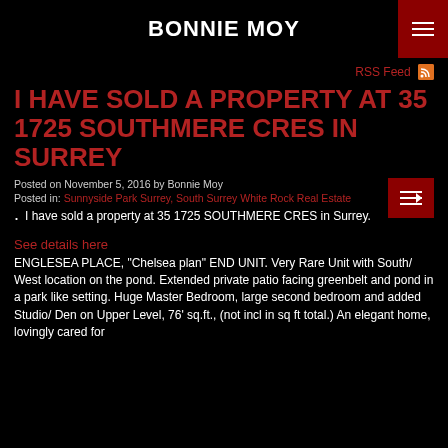BONNIE MOY
RSS Feed
I HAVE SOLD A PROPERTY AT 35 1725 SOUTHMERE CRES IN SURREY
Posted on November 5, 2016 by Bonnie Moy
Posted in: Sunnyside Park Surrey, South Surrey White Rock Real Estate
I have sold a property at 35 1725 SOUTHMERE CRES in Surrey.
See details here
ENGLESEA PLACE, "Chelsea plan" END UNIT. Very Rare Unit with South/ West location on the pond. Extended private patio facing greenbelt and pond in a park like setting. Huge Master Bedroom, large second bedroom and added Studio/ Den on Upper Level, 76' sq.ft., (not incl in sq ft total.) An elegant home, lovingly cared for